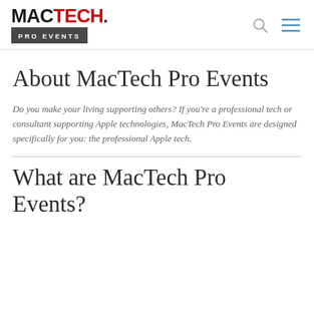[Figure (logo): MacTech Pro Events logo — MAC in black bold, TECH in red bold, with a dark gray bar underneath reading PRO EVENTS in white letters]
MacTech Pro Events — navigation header with search and menu icons
About MacTech Pro Events
Do you make your living supporting others?  If you're a professional tech or consultant supporting Apple technologies, MacTech Pro Events are designed specifically for you: the professional Apple tech.
What are MacTech Pro Events?